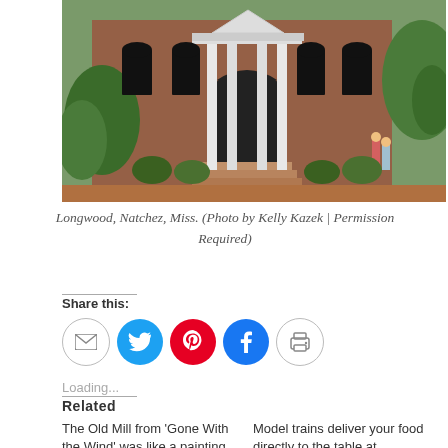[Figure (photo): Longwood mansion in Natchez, Mississippi - a large brick Italianate building with white columns and stairs, with visitors walking on brick path surrounded by green trees and lawn]
Longwood, Natchez, Miss. (Photo by Kelly Kazek | Permission Required)
Share this:
[Figure (infographic): Social share buttons: email (grey circle), Twitter (blue circle with bird), Pinterest (red circle with P), Facebook (blue circle with f), Print (grey circle with printer icon)]
Loading...
Related
The Old Mill from 'Gone With the Wind' was like a painting
Model trains deliver your food directly to the table at